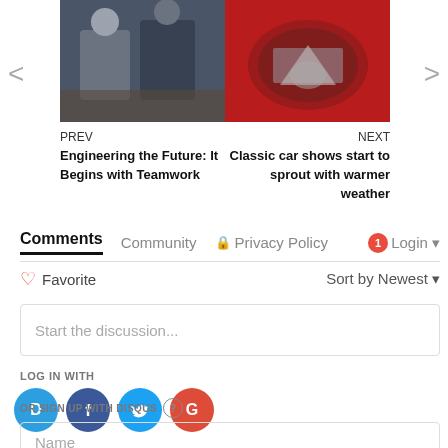[Figure (photo): Two photos side by side: left shows people at an event, right shows a red classic car front grille closeup]
PREV
Engineering the Future: It Begins with Teamwork
NEXT
Classic car shows start to sprout with warmer weather
Comments  Community  🔒 Privacy Policy  1  Login
♡ Favorite
Sort by Newest
Start the discussion...
LOG IN WITH
[Figure (logo): Social login icons: Disqus (D), Facebook (f), Twitter bird, Google (G)]
OR SIGN UP WITH DISQUS ?
Name